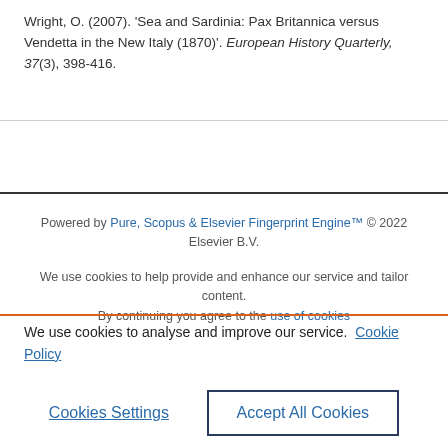Wright, O. (2007). 'Sea and Sardinia: Pax Britannica versus Vendetta in the New Italy (1870)'. European History Quarterly, 37(3), 398-416.
Powered by Pure, Scopus & Elsevier Fingerprint Engine™ © 2022 Elsevier B.V.
We use cookies to help provide and enhance our service and tailor content. By continuing you agree to the use of cookies
We use cookies to analyse and improve our service. Cookie Policy
Cookies Settings
Accept All Cookies